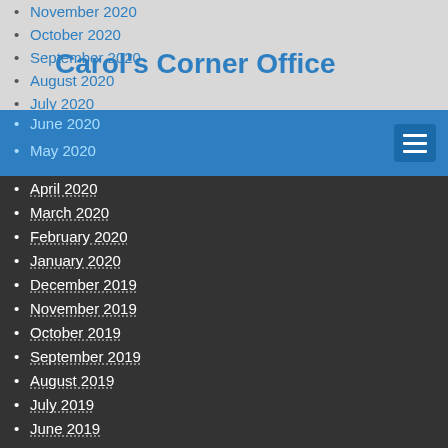Carol's Corner Office
November 2020
October 2020
September 2020
August 2020
July 2020
June 2020
May 2020
April 2020
March 2020
February 2020
January 2020
December 2019
November 2019
October 2019
September 2019
August 2019
July 2019
June 2019
May 2019
April 2019
March 2019
February 2019
January 2019